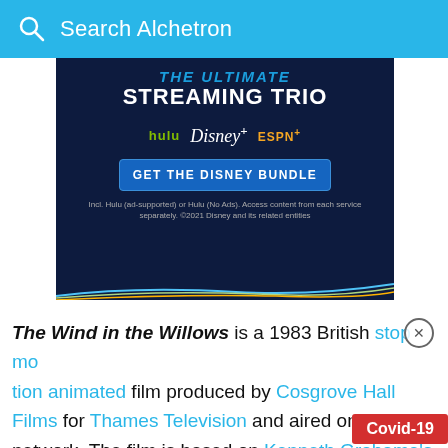Search Alchetron
[Figure (screenshot): Disney Bundle advertisement showing 'THE ULTIMATE STREAMING TRIO' with Hulu, Disney+, and ESPN+ logos, a 'GET THE DISNEY BUNDLE' button, and fine print about the offer. Dark navy background with colorful wave lines at the bottom.]
The Wind in the Willows is a 1983 British stop motion animated film produced by Cosgrove Hall Films for Thames Television and aired on the ITV network. The film is based on Kenneth Grahame's classic story The Wind in the Willows. It w BAFTA award and an international Emmy award.